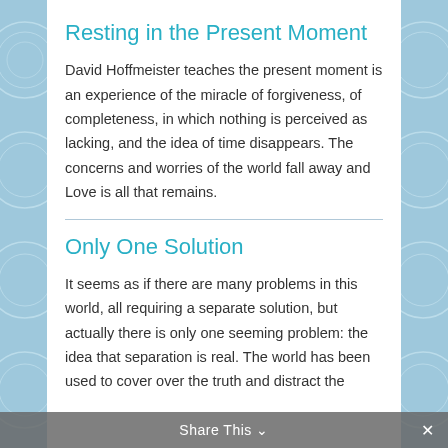Resting in the Present Moment
David Hoffmeister teaches the present moment is an experience of the miracle of forgiveness, of completeness, in which nothing is perceived as lacking, and the idea of time disappears. The concerns and worries of the world fall away and Love is all that remains.
Only One Solution
It seems as if there are many problems in this world, all requiring a separate solution, but actually there is only one seeming problem: the idea that separation is real. The world has been used to cover over the truth and distract the…
Share This ×